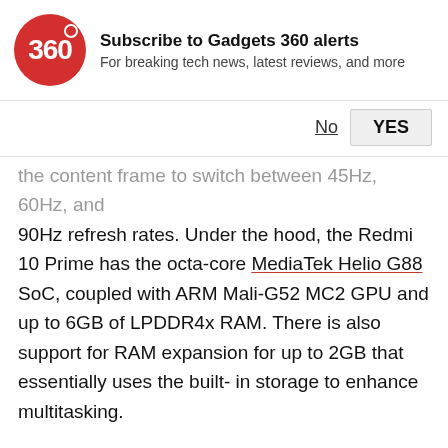Subscribe to Gadgets 360 alerts
For breaking tech news, latest reviews, and more
No  YES
the content frame to switch between 45Hz, 60Hz, and 90Hz refresh rates. Under the hood, the Redmi 10 Prime has the octa-core MediaTek Helio G88 SoC, coupled with ARM Mali-G52 MC2 GPU and up to 6GB of LPDDR4x RAM. There is also support for RAM expansion for up to 2GB that essentially uses the built-in storage to enhance multitasking.
For photos and videos, the Redmi 10 Prime comes with the quad rear camera setup that houses the 50-megapixel primary sensor, along with an 8-megapixel ultra-wide shooter with an f/2.2 lens, 2-megapixel depth sensor, and a 2-megapixel macro shooter. The rear